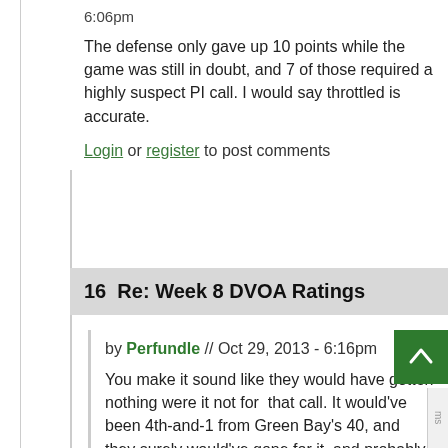6:06pm
The defense only gave up 10 points while the game was still in doubt, and 7 of those required a highly suspect PI call. I would say throttled is accurate.
Log in or register to post comments
16  Re: Week 8 DVOA Ratings
by Perfundle // Oct 29, 2013 - 6:16pm
You make it sound like they would have gotten nothing were it not for that call. It would've been 4th-and-1 from Green Bay's 40, and they surely would've gone for it, and probably get at least a field goal. Also, even with th